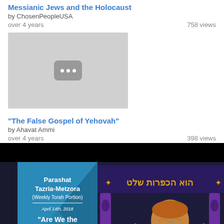Messianic Jews and the Holocaust
by ChosenPeopleUSA
over 4 years   758 views
[Figure (screenshot): Video thumbnail placeholder with gray background and YouTube-style icon with three dots]
"The False Gospel of Yehovah"
by Ahavat Ammi
over 4 years   398 views
[Figure (screenshot): Video thumbnail showing a man gesturing with thumbs up in front of a synagogue backdrop with Hebrew text, with a blue panel on left showing Parashat Tazria-Metzora (Weekly Torah Portion) April 14th 2018 'Are We the Lepers of Israel?' and NETIVYAH.ORG logo]